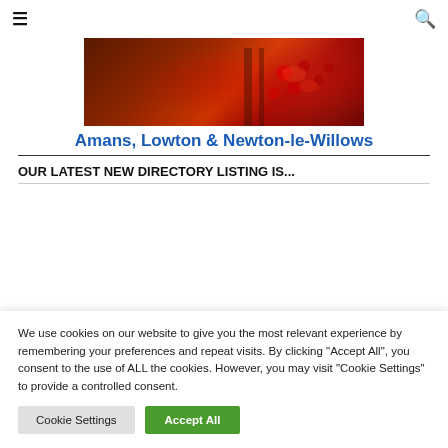≡  [search icon]
[Figure (photo): Dark reddish ambiance photo showing decorative red lights/crystals on a surface, used as website header image for Amans, Lowton & Newton-le-Willows]
Amans, Lowton & Newton-le-Willows
OUR LATEST NEW DIRECTORY LISTING IS...
We use cookies on our website to give you the most relevant experience by remembering your preferences and repeat visits. By clicking "Accept All", you consent to the use of ALL the cookies. However, you may visit "Cookie Settings" to provide a controlled consent.